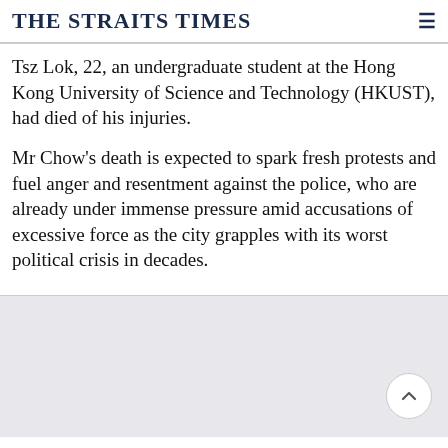THE STRAITS TIMES
Tsz Lok, 22, an undergraduate student at the Hong Kong University of Science and Technology (HKUST), had died of his injuries.
Mr Chow's death is expected to spark fresh protests and fuel anger and resentment against the police, who are already under immense pressure amid accusations of excessive force as the city grapples with its worst political crisis in decades.
[Figure (other): Light gray background area with a circular scroll-to-top button (chevron up icon) in the bottom right corner]